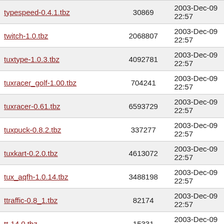| Filename | Size | Date |
| --- | --- | --- |
| typespeed-0.4.1.tbz | 30869 | 2003-Dec-09 22:57 |
| twitch-1.0.tbz | 2068807 | 2003-Dec-09 22:57 |
| tuxtype-1.0.3.tbz | 4092781 | 2003-Dec-09 22:57 |
| tuxracer_golf-1.00.tbz | 704241 | 2003-Dec-09 22:57 |
| tuxracer-0.61.tbz | 6593729 | 2003-Dec-09 22:57 |
| tuxpuck-0.8.2.tbz | 337277 | 2003-Dec-09 22:57 |
| tuxkart-0.2.0.tbz | 4613072 | 2003-Dec-09 22:57 |
| tux_aqfh-1.0.14.tbz | 3488198 | 2003-Dec-09 22:57 |
| ttraffic-0.8_1.tbz | 82174 | 2003-Dec-09 22:57 |
| tt-14.0.tbz | 15331 | 2003-Dec-09 22:57 |
| trojka-1.0.tbz | 11665 | 2003-Dec-09 22:57 |